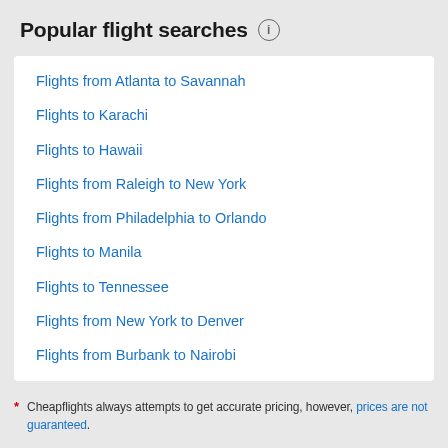Popular flight searches
Flights from Atlanta to Savannah
Flights to Karachi
Flights to Hawaii
Flights from Raleigh to New York
Flights from Philadelphia to Orlando
Flights to Manila
Flights to Tennessee
Flights from New York to Denver
Flights from Burbank to Nairobi
* Cheapflights always attempts to get accurate pricing, however, prices are not guaranteed.